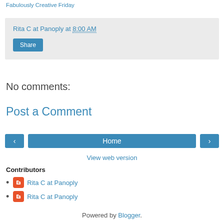Fabulously Creative Friday
Rita C at Panoply at 8:00 AM
Share
No comments:
Post a Comment
‹  Home  ›
View web version
Contributors
Rita C at Panoply
Rita C at Panoply
Powered by Blogger.